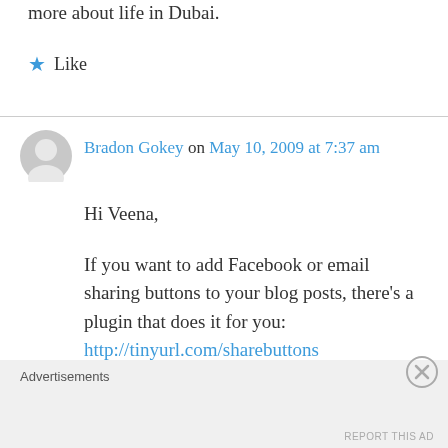more about life in Dubai.
★ Like
Bradon Gokey on May 10, 2009 at 7:37 am
Hi Veena,

If you want to add Facebook or email sharing buttons to your blog posts, there's a plugin that does it for you: http://tinyurl.com/sharebuttons

Hope you find it helpful!

Cheers,
Advertisements
REPORT THIS AD